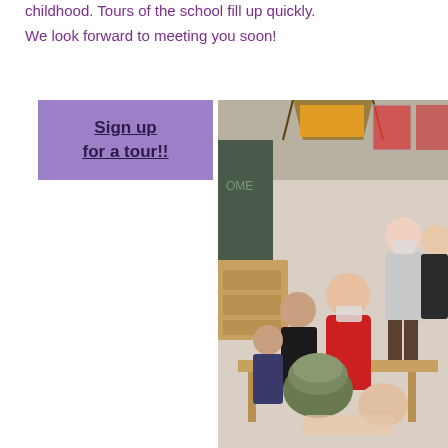childhood. Tours of the school fill up quickly.
We look forward to meeting you soon!
Sign up for a tour!!
[Figure (photo): People gathered in a classroom or school setting, some wearing masks, with a man in a red sweater interacting with others. Colorful artwork on the walls, wooden furniture, and a stained-glass style hanging lamp visible.]